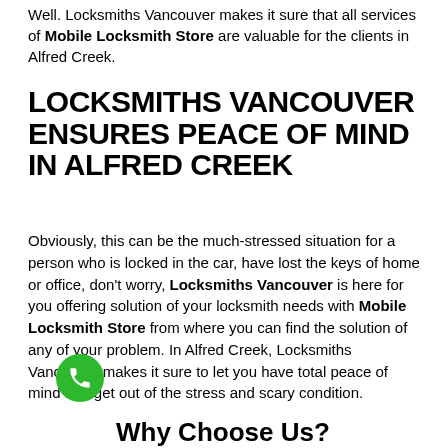Well. Locksmiths Vancouver makes it sure that all services of Mobile Locksmith Store are valuable for the clients in Alfred Creek.
LOCKSMITHS VANCOUVER ENSURES PEACE OF MIND IN ALFRED CREEK
Obviously, this can be the much-stressed situation for a person who is locked in the car, have lost the keys of home or office, don't worry, Locksmiths Vancouver is here for you offering solution of your locksmith needs with Mobile Locksmith Store from where you can find the solution of any of your problem. In Alfred Creek, Locksmiths Vancouver makes it sure to let you have total peace of mind and get out of the stress and scary condition.
Why Choose Us?